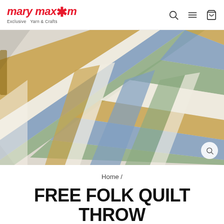mary maxim — Exclusive Yarn & Crafts
[Figure (photo): Close-up photo of a crocheted folk quilt throw blanket draped over a surface. The blanket has a log-cabin style pattern with stripes of blue, green, gold/tan, and cream/white colors arranged in geometric rectangular spirals.]
Home /
FREE FOLK QUILT THROW CROCHET PATTERN